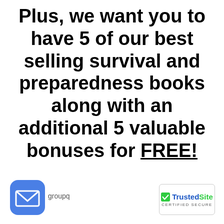Plus, we want you to have 5 of our best selling survival and preparedness books along with an additional 5 valuable bonuses for FREE!
[Figure (logo): Blue rounded square email icon with white envelope]
groupq
[Figure (logo): TrustedSite certified secure badge with blue checkmark]